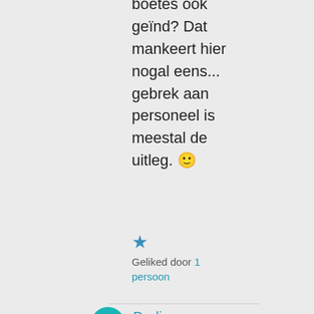boetes ook geïnd? Dat mankeert hier nogal eens... gebrek aan personeel is meestal de uitleg. 🙂
★ Geliked door 1 persoon
Darling Doormat op 9 december 2020